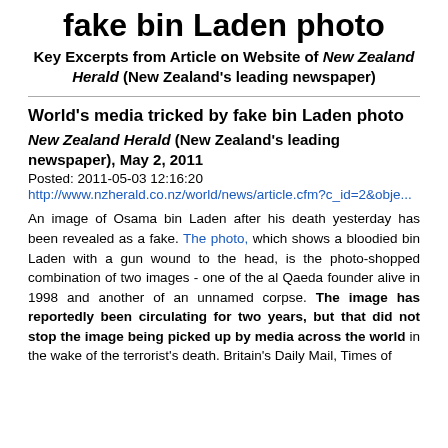fake bin Laden photo
Key Excerpts from Article on Website of New Zealand Herald (New Zealand's leading newspaper)
World's media tricked by fake bin Laden photo
New Zealand Herald (New Zealand's leading newspaper), May 2, 2011
Posted: 2011-05-03 12:16:20
http://www.nzherald.co.nz/world/news/article.cfm?c_id=2&obje...
An image of Osama bin Laden after his death yesterday has been revealed as a fake. The photo, which shows a bloodied bin Laden with a gun wound to the head, is the photo-shopped combination of two images - one of the al Qaeda founder alive in 1998 and another of an unnamed corpse. The image has reportedly been circulating for two years, but that did not stop the image being picked up by media across the world in the wake of the terrorist's death. Britain's Daily Mail, Times of